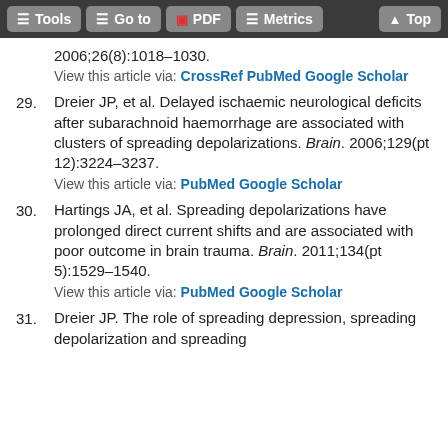Tools  Go to  PDF  Metrics  Top
2006;26(8):1018–1030.
View this article via: CrossRef PubMed Google Scholar
29. Dreier JP, et al. Delayed ischaemic neurological deficits after subarachnoid haemorrhage are associated with clusters of spreading depolarizations. Brain. 2006;129(pt 12):3224–3237.
View this article via: PubMed Google Scholar
30. Hartings JA, et al. Spreading depolarizations have prolonged direct current shifts and are associated with poor outcome in brain trauma. Brain. 2011;134(pt 5):1529–1540.
View this article via: PubMed Google Scholar
31. Dreier JP. The role of spreading depression, spreading depolarization and spreading